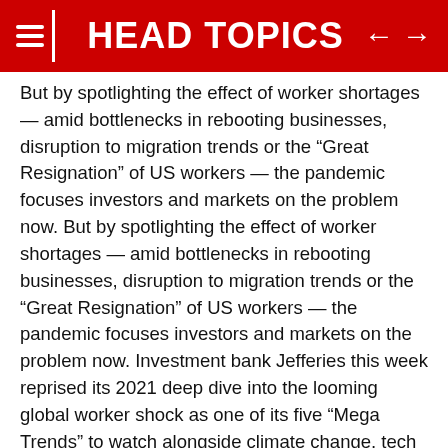HEAD TOPICS
But by spotlighting the effect of worker shortages — amid bottlenecks in rebooting businesses, disruption to migration trends or the “Great Resignation” of US workers — the pandemic focuses investors and markets on the problem now. But by spotlighting the effect of worker shortages — amid bottlenecks in rebooting businesses, disruption to migration trends or the “Great Resignation” of US workers — the pandemic focuses investors and markets on the problem now. Investment bank Jefferies this week reprised its 2021 deep dive into the looming global worker shock as one of its five “Mega Trends” to watch alongside climate change, tech transformation, geopolitical shifts and urbanisation. Citing data from a variety of sources from the World Bank, UN to the Organisation for Economic Co-operation and Development (OECD), the bank showed that fertility in 75 countries was already well below the 2. Citing data from a variety of sources from the World Bank, UN to the Organisation for Economic Co-operation and Development (OECD), the bank showed that fertility in 75 countries was already well below the 2.1 so-called “replacement rate” and would be less than 2 globally by the end of the century 1 so-called “replacement rate” and would be